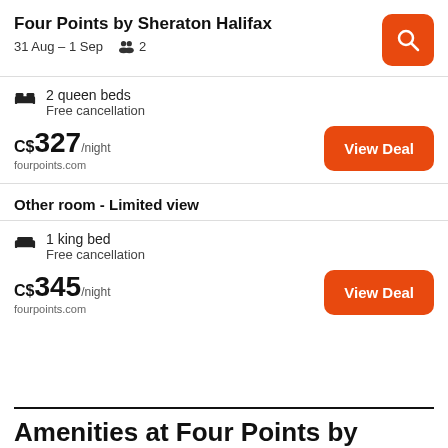Four Points by Sheraton Halifax
31 Aug – 1 Sep   👥 2
2 queen beds
Free cancellation
C$ 327/night
fourpoints.com
View Deal
Other room - Limited view
1 king bed
Free cancellation
C$ 345/night
fourpoints.com
View Deal
Amenities at Four Points by